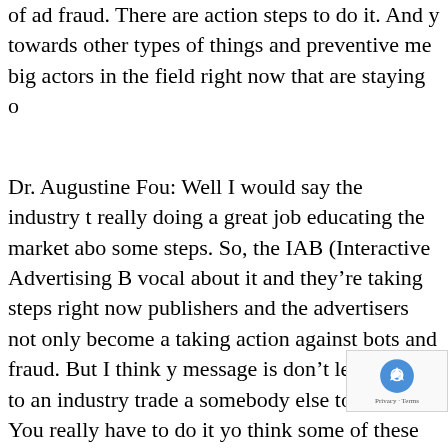of ad fraud. There are action steps to do it. And y towards other types of things and preventive me big actors in the field right now that are staying o
Dr. Augustine Fou: Well I would say the industry t really doing a great job educating the market abo some steps. So, the IAB (Interactive Advertising B vocal about it and they're taking steps right now publishers and the advertisers not only become a taking action against bots and fraud. But I think y message is don't leave it up to an industry trade a somebody else to do it. You really have to do it yo think some of these topics and issues are so new programmatic really isn't that old, and th kind of made easy by programmatic adve So everyone is learning as they do it. So if you pay